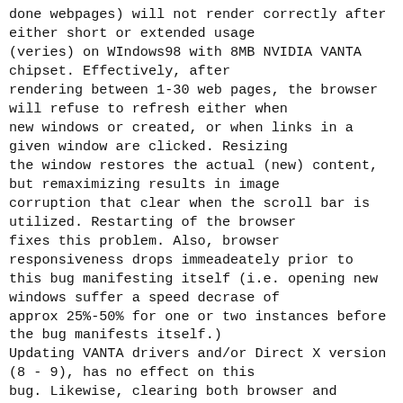done webpages) will not render correctly after either short or extended usage (veries) on WIndows98 with 8MB NVIDIA VANTA chipset. Effectively, after rendering between 1-30 web pages, the browser will refuse to refresh either when new windows or created, or when links in a given window are clicked. Resizing the window restores the actual (new) content, but remaximizing results in image corruption that clear when the scroll bar is utilized. Restarting of the browser fixes this problem. Also, browser responsiveness drops immeadeately prior to this bug manifesting itself (i.e. opening new windows suffer a speed decrase of approx 25%-50% for one or two instances before the bug manifests itself.) Updating VANTA drivers and/or Direct X version (8 - 9), has no effect on this bug. Likewise, clearing both browser and system